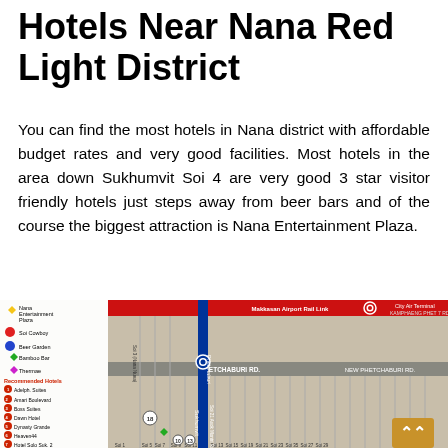Hotels Near Nana Red Light District
You can find the most hotels in Nana district with affordable budget rates and very good facilities. Most hotels in the area down Sukhumvit Soi 4 are very good 3 star visitor friendly hotels just steps away from beer bars and of the course the biggest attraction is Nana Entertainment Plaza.
[Figure (map): Street map showing Nana district area in Bangkok, Thailand. Legend shows: Nana Entertainment Plaza, Soi Cowboy, Beer Garden, Bamboo Bar, Thermae. Recommended Hotels listed: 1 Adelpic Suites, 2 Amari Boulevard, 3 Boss Suites, 4 Dawn Hotel, 5 Dynasty Grande, 6 Heaven44, 7 Hotel Solo Suk. 2. Map shows Phetchaburi Rd, New Phetchaburi Rd, Kamphaeng Phet 7 Rd, Makkasan Airport Rail Link, City Air Terminal, Sukhumvit road with various Sois numbered.]